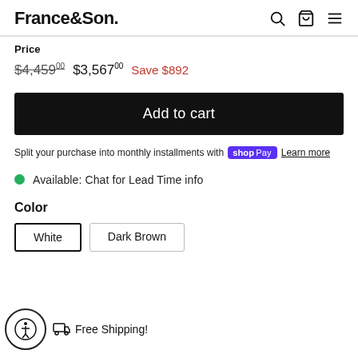France&Son.
Price
$4,459.00  $3,567.00  Save $892
Add to cart
Split your purchase into monthly installments with Shop Pay  Learn more
Available: Chat for Lead Time info
Color
White
Dark Brown
Free Shipping!